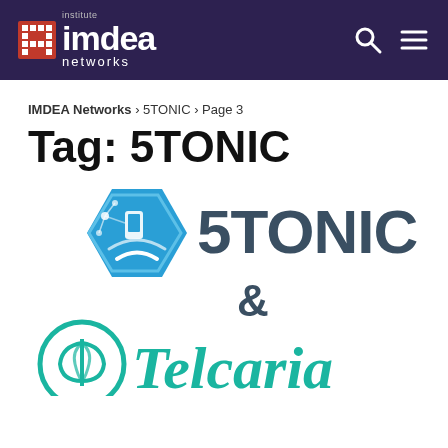[Figure (logo): IMDEA Networks institute logo in white on dark purple header bar]
IMDEA Networks › 5TONIC › Page 3
Tag: 5TONIC
[Figure (logo): 5TONIC and Telcaria combined logos: 5TONIC hexagonal icon with 5G symbol, '5TONIC' text, ampersand, Telcaria circular leaf icon and 'Telcaria' text in teal]